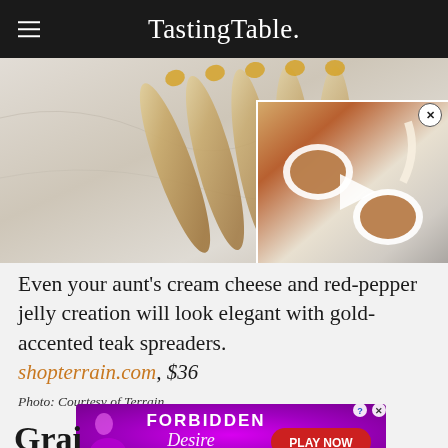Tasting Table.
[Figure (photo): Photo of teak spreaders on marble surface, with a video overlay thumbnail showing two white mugs of tea with cream being poured, and a play button. A close button (X) is visible at top right of the video overlay.]
Even your aunt's cream cheese and red-pepper jelly creation will look elegant with gold-accented teak spreaders.
shopterrain.com, $36
Photo: Courtesy of Terrain
[Figure (other): Advertisement banner for 'Forbidden Desire' game with purple background, woman silhouette, and PLAY NOW button]
Gra